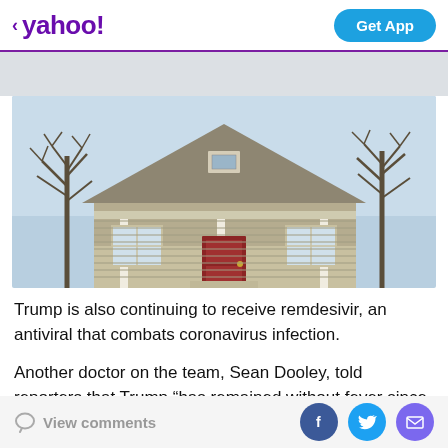< yahoo!   Get App
[Figure (photo): A craftsman-style house with tan/khaki siding, a front porch with white columns, a red front door, and bare winter trees on both sides against a light blue sky.]
Trump is also continuing to receive remdesivir, an antiviral that combats coronavirus infection.
Another doctor on the team, Sean Dooley, told reporters that Trump “has remained without fever since Friday morning. His vital signs are stable, he remains on room
View comments